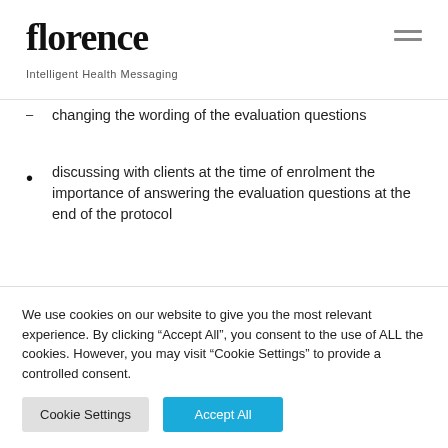florence — Intelligent Health Messaging
changing the wording of the evaluation questions
discussing with clients at the time of enrolment the importance of answering the evaluation questions at the end of the protocol
“ Florence has been a useful tool with our clients
We use cookies on our website to give you the most relevant experience. By clicking “Accept All”, you consent to the use of ALL the cookies. However, you may visit “Cookie Settings” to provide a controlled consent.